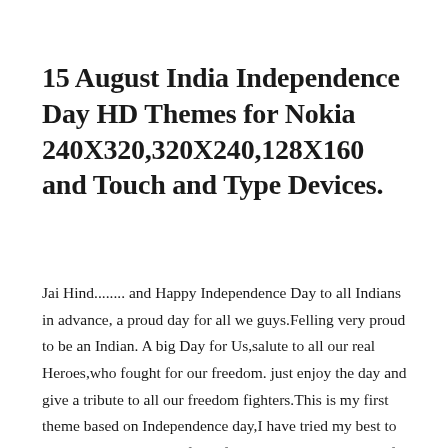15 August India Independence Day HD Themes for Nokia 240X320,320X240,128X160 and Touch and Type Devices.
Jai Hind........ and Happy Independence Day to all Indians in advance, a proud day for all we guys.Felling very proud to be an Indian. A big Day for Us,salute to all our real Heroes,who fought for our freedom. just enjoy the day and give a tribute to all our freedom fighters.This is my first theme based on Independence day,I have tried my best to create this Theme.But if you found any mistakes please for give me.i am still learning.I have designed this Themes for all Nokia S40 Devices.I have designed the wallpaper and Icons for this theme specially with the help of Photoshop.In the